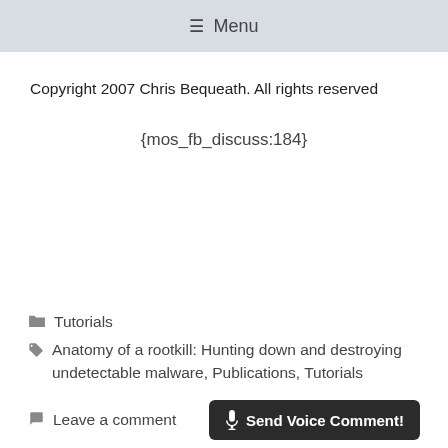≡ Menu
Copyright 2007 Chris Bequeath. All rights reserved
{mos_fb_discuss:184}
Tutorials
Anatomy of a rootkill: Hunting down and destroying undetectable malware, Publications, Tutorials
Leave a comment